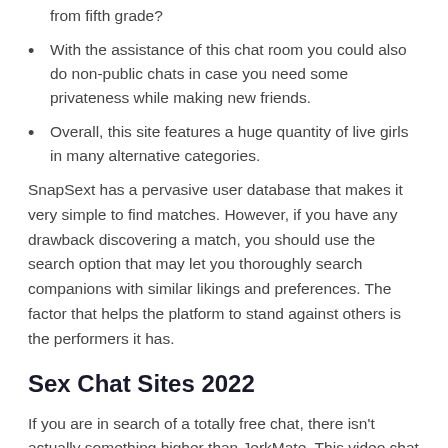from fifth grade?
With the assistance of this chat room you could also do non-public chats in case you need some privateness while making new friends.
Overall, this site features a huge quantity of live girls in many alternative categories.
SnapSext has a pervasive user database that makes it very simple to find matches. However, if you have any drawback discovering a match, you should use the search option that may let you thoroughly search companions with similar likings and preferences. The factor that helps the platform to stand against others is the performers it has.
Sex Chat Sites 2022
If you are in search of a totally free chat, there isn't actually something higher than JerkMate. This video chat room is a favorite of many individuals as a outcome of it connects